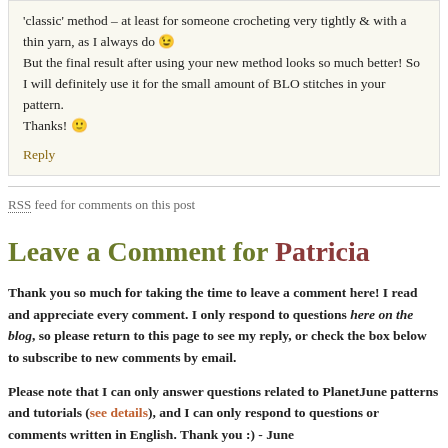'classic' method – at least for someone crocheting very tightly & with a thin yarn, as I always do 😉
But the final result after using your new method looks so much better! So I will definitely use it for the small amount of BLO stitches in your pattern.
Thanks! 🙂
Reply
RSS feed for comments on this post
Leave a Comment for Patricia
Thank you so much for taking the time to leave a comment here! I read and appreciate every comment. I only respond to questions here on the blog, so please return to this page to see my reply, or check the box below to subscribe to new comments by email.
Please note that I can only answer questions related to PlanetJune patterns and tutorials (see details), and I can only respond to questions or comments written in English. Thank you :) - June